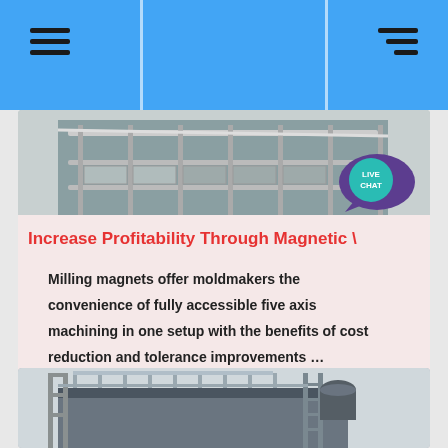Navigation header with hamburger menu icons
[Figure (photo): Industrial scaffolding and railing structure photo at top of first card]
[Figure (other): Live Chat bubble icon in teal/purple with speech bubble]
Increase Profitability Through Magnetic \
Milling magnets offer moldmakers the convenience of fully accessible five axis machining in one setup with the benefits of cost reduction and tolerance improvements …
[Figure (photo): Industrial building structure with scaffolding, ladder and ventilation equipment on rooftop]